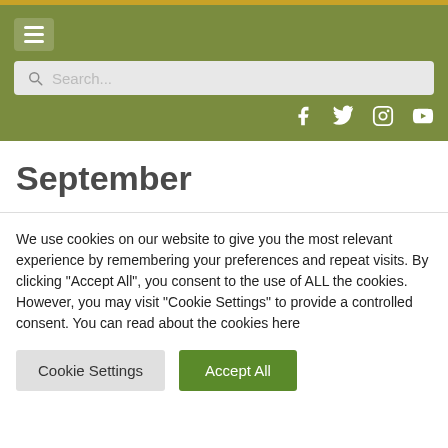[Figure (screenshot): Website header with olive green background, hamburger menu icon, search bar, and social media icons (Facebook, Twitter, Instagram, YouTube)]
September
We use cookies on our website to give you the most relevant experience by remembering your preferences and repeat visits. By clicking "Accept All", you consent to the use of ALL the cookies. However, you may visit "Cookie Settings" to provide a controlled consent. You can read about the cookies here
Cookie Settings | Accept All